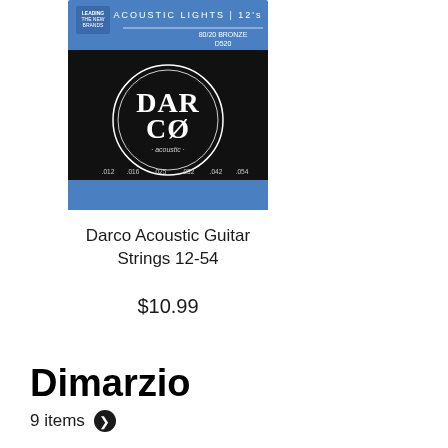[Figure (photo): Product packaging for Darco Acoustic Guitar Strings 12-54, showing a black and blue box with the Darco logo in a circular design, labeled 'Acoustic Lights 12s' and '80/20 Bronze']
Darco Acoustic Guitar Strings 12-54
$10.99
Dimarzio
9 items ❯